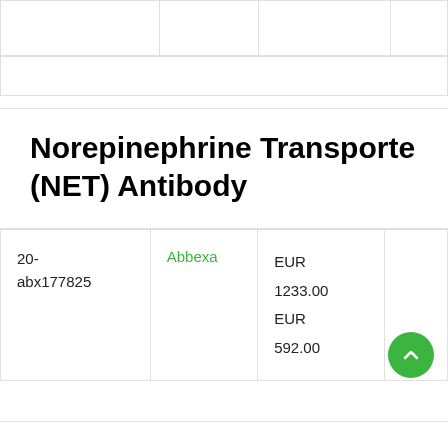|  |  |  |  |
|  |
Norepinephrine Transporter (NET) Antibody
| 20-abx177825 | Abbexa | EUR 1233.00
EUR 592.00 |  |